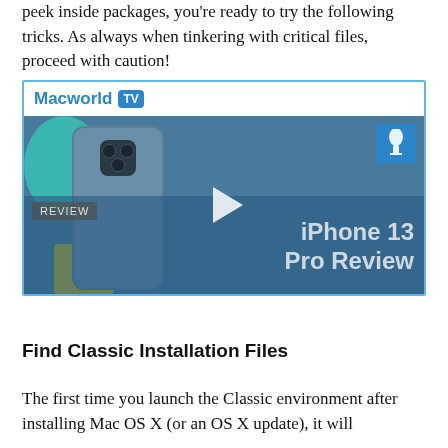peek inside packages, you're ready to try the following tricks. As always when tinkering with critical files, proceed with caution!
[Figure (screenshot): Macworld TV embedded video player showing iPhone 13 Pro Review. Header shows 'Macworld TV' logo in blue with TV badge. Video thumbnail shows an iPhone 13 Pro on a colorful fabric background with a REVIEW label and play button overlay, and text 'iPhone 13 Pro Review'.]
Find Classic Installation Files
The first time you launch the Classic environment after installing Mac OS X (or an OS X update), it will